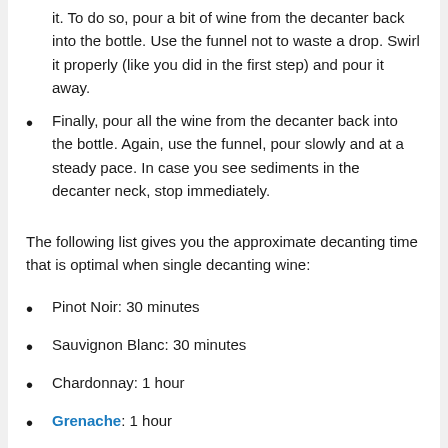it. To do so, pour a bit of wine from the decanter back into the bottle. Use the funnel not to waste a drop. Swirl it properly (like you did in the first step) and pour it away.
Finally, pour all the wine from the decanter back into the bottle. Again, use the funnel, pour slowly and at a steady pace. In case you see sediments in the decanter neck, stop immediately.
The following list gives you the approximate decanting time that is optimal when single decanting wine:
Pinot Noir: 30 minutes
Sauvignon Blanc: 30 minutes
Chardonnay: 1 hour
Grenache: 1 hour
Malbec: 1 hour
Cabernet Sauvignon: 2 hours